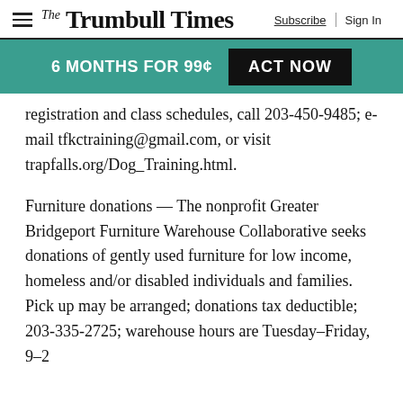The Trumbull Times | Subscribe | Sign In
6 MONTHS FOR 99¢   ACT NOW
registration and class schedules, call 203-450-9485; e-mail tfkctraining@gmail.com, or visit trapfalls.org/Dog_Training.html.
Furniture donations — The nonprofit Greater Bridgeport Furniture Warehouse Collaborative seeks donations of gently used furniture for low income, homeless and/or disabled individuals and families. Pick up may be arranged; donations tax deductible; 203-335-2725; warehouse hours are Tuesday–Friday, 9–2